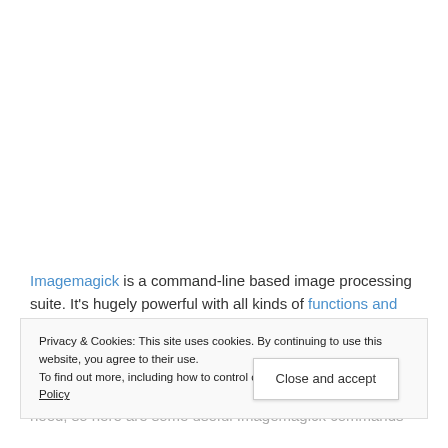Imagemagick is a command-line based image processing suite. It's hugely powerful with all kinds of functions and favourite commands.
Privacy & Cookies: This site uses cookies. By continuing to use this website, you agree to their use.
To find out more, including how to control cookies, see here: Cookie Policy
There is a very good and comprehensive list of 'basic' commands, but I find it dwarfs the selection I actually need, so here are some useful Imagemagick commands